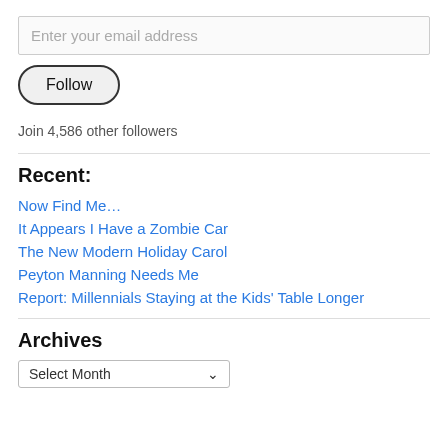Enter your email address
Follow
Join 4,586 other followers
Recent:
Now Find Me…
It Appears I Have a Zombie Car
The New Modern Holiday Carol
Peyton Manning Needs Me
Report: Millennials Staying at the Kids' Table Longer
Archives
Select Month